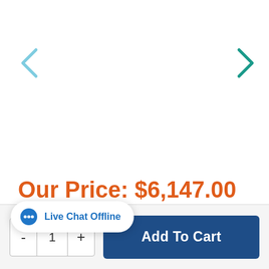[Figure (screenshot): Left navigation arrow (chevron) for image carousel, light teal color]
[Figure (screenshot): Right navigation arrow (chevron) for image carousel, teal/dark teal color]
Our Price: $6,147.00
$77 / Month
Live Chat Offline
- 1 +
Add To Cart